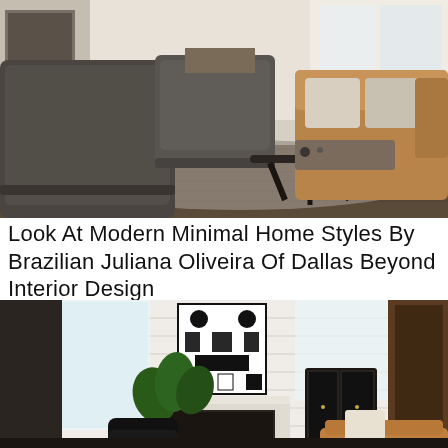[Figure (photo): Interior living room scene with dark gray upholstered armchairs, a tan leather sofa with throw pillows, a black sculptural coffee table, and a distressed area rug on hardwood floors, with a white brick fireplace in the background.]
Look At Modern Minimal Home Styles By Brazilian Juliana Oliveira Of Dallas Beyond Interior Design
[Figure (photo): Modern minimal interior living room with white shiplap walls, large windows, a bold black-and-white geometric artwork above a white fireplace, a large black planter with a fiddle-leaf fig plant, a black accent cabinet, a tan leather sofa, and a black lounge chair.]